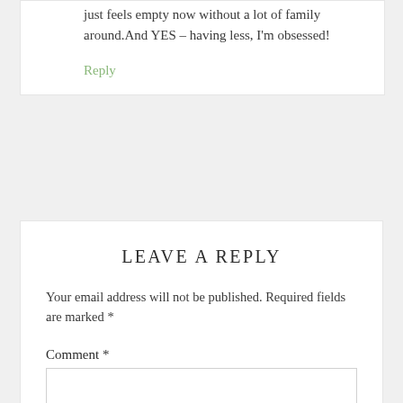just feels empty now without a lot of family around.And YES – having less, I'm obsessed!
Reply
LEAVE A REPLY
Your email address will not be published. Required fields are marked *
Comment *